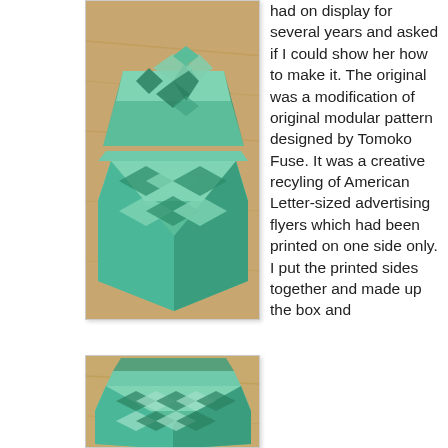[Figure (photo): Green modular origami box with geometric star-pattern lid, photographed on a wooden surface]
had on display for several years and asked if I could show her how to make it. The original was a modification of original modular pattern designed by Tomoko Fuse. It was a creative recyling of American Letter-sized advertising flyers which had been printed on one side only. I put the printed sides together and made up the box and
[Figure (photo): Green modular origami box without lid, showing diamond pattern sides, photographed on a wooden surface]